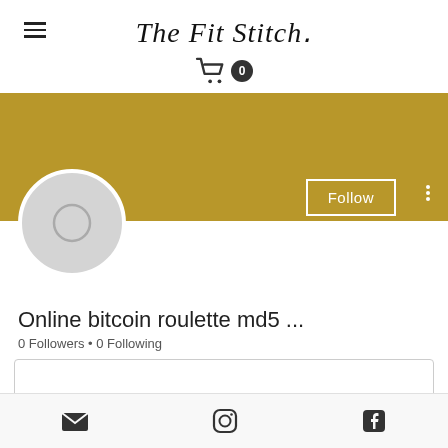The Fit Stitch
[Figure (screenshot): Shopping cart icon with badge showing 0]
[Figure (screenshot): Gold/yellow banner background with Follow button and three-dots menu, profile circle avatar placeholder]
Online bitcoin roulette md5 ...
0 Followers • 0 Following
[Figure (screenshot): Dropdown box with chevron/down arrow]
[Figure (screenshot): Social media icons bar: email, Instagram, Facebook]